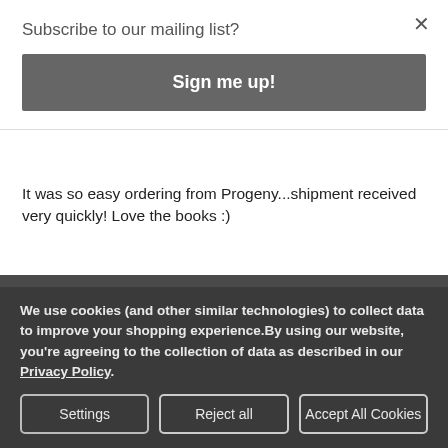Subscribe to our mailing list?
Sign me up!
It was so easy ordering from Progeny...shipment received very quickly! Love the books :)
CATEGORIES
INFORMATION
We use cookies (and other similar technologies) to collect data to improve your shopping experience.By using our website, you're agreeing to the collection of data as described in our Privacy Policy.
Settings
Reject all
Accept All Cookies